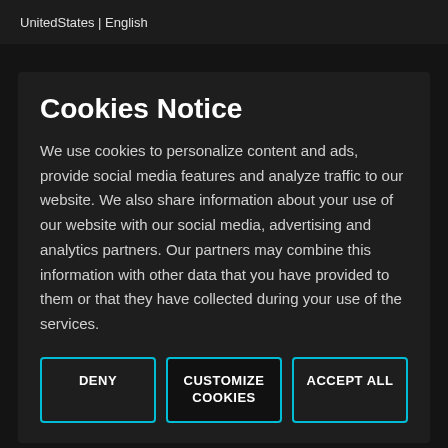UnitedStates | English
Cookies Notice
We use cookies to personalize content and ads, provide social media features and analyze traffic to our website. We also share information about your use of our website with our social media, advertising and analytics partners. Our partners may combine this information with other data that you have provided to them or that they have collected during your use of the services.
DENY
CUSTOMIZE COOKIES
ACCEPT ALL